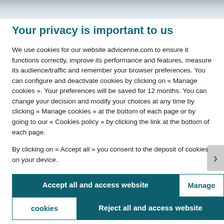[Figure (photo): Partial photo of a person wearing a suit and tie, cropped to show only the torso/shoulder area at the top of the page]
Your privacy is important to us
We use cookies for our website advicenne.com to ensure it functions correctly, improve its performance and features, measure its audience/traffic and remember your browser preferences. You can configure and deactivate cookies by clicking on « Manage cookies ». Your preferences will be saved for 12 months. You can change your decision and modify your choices at any time by clicking « Manage cookies » at the bottom of each page or by going to our « Cookies policy » by clicking the link at the bottom of each page.
By clicking on « Accept all » you consent to the deposit of cookies on your device.
Accept all and access website
Manage
cookies
Reject all and access website